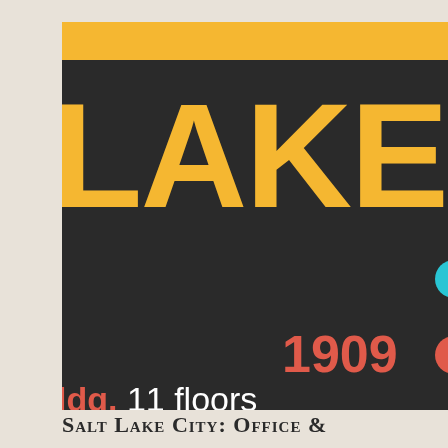[Figure (infographic): Salt Lake City Office Tower infographic with dark background, gold top bar, large 'LAKE' text in yellow, 'Office Tower' in white, and a vertical timeline showing 1908 Boston Bldg (cyan dot) and 1909 with 11 floors (red dot).]
Salt Lake City: Office &